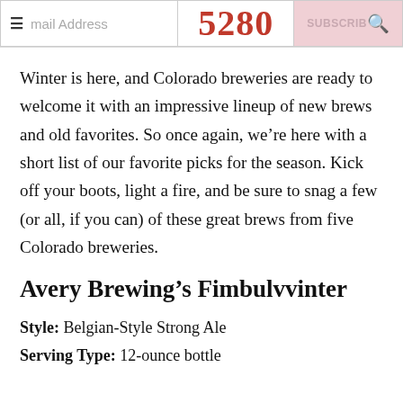Email Address | 5280 | SUBSCRIBE
Winter is here, and Colorado breweries are ready to welcome it with an impressive lineup of new brews and old favorites. So once again, we're here with a short list of our favorite picks for the season. Kick off your boots, light a fire, and be sure to snag a few (or all, if you can) of these great brews from five Colorado breweries.
Avery Brewing's Fimbulvvinter
Style: Belgian-Style Strong Ale
Serving Type: 12-ounce bottle